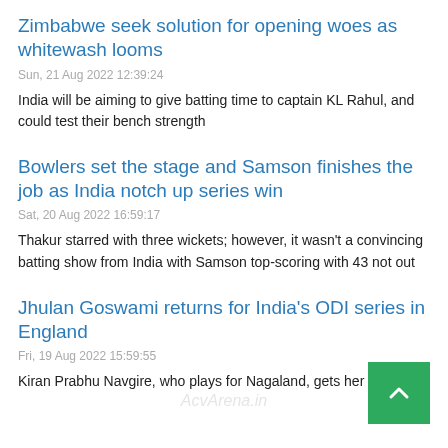Zimbabwe seek solution for opening woes as whitewash looms
Sun, 21 Aug 2022 12:39:24
India will be aiming to give batting time to captain KL Rahul, and could test their bench strength
Bowlers set the stage and Samson finishes the job as India notch up series win
Sat, 20 Aug 2022 16:59:17
Thakur starred with three wickets; however, it wasn't a convincing batting show from India with Samson top-scoring with 43 not out
Jhulan Goswami returns for India's ODI series in England
Fri, 19 Aug 2022 15:59:55
Kiran Prabhu Navgire, who plays for Nagaland, gets her